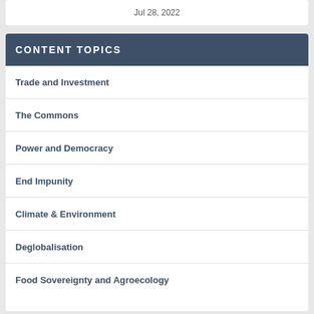Jul 28, 2022
CONTENT TOPICS
Trade and Investment
The Commons
Power and Democracy
End Impunity
Climate & Environment
Deglobalisation
Food Sovereignty and Agroecology